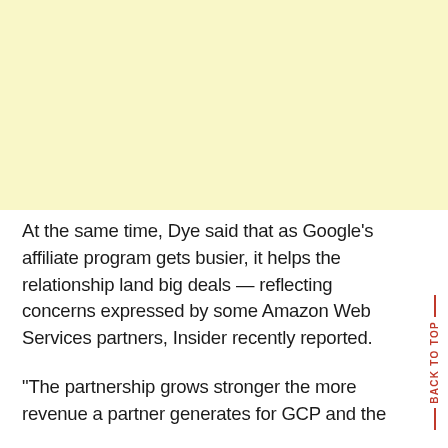[Figure (other): Light yellow background block occupying upper portion of the page]
At the same time, Dye said that as Google's affiliate program gets busier, it helps the relationship land big deals — reflecting concerns expressed by some Amazon Web Services partners, Insider recently reported.
“The partnership grows stronger the more revenue a partner generates for GCP and the